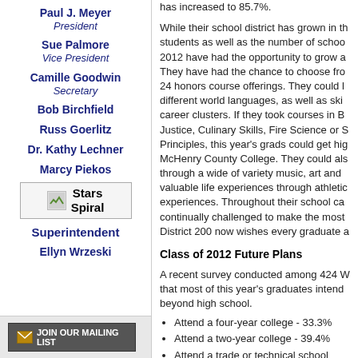Paul J. Meyer
President
Sue Palmore
Vice President
Camille Goodwin
Secretary
Bob Birchfield
Russ Goerlitz
Dr. Kathy Lechner
Marcy Piekos
[Figure (logo): Stars Spiral logo with image icon]
Superintendent
Ellyn Wrzeski
[Figure (other): JOIN OUR MAILING LIST button]
has increased to 85.7%.
While their school district has grown in the number of students as well as the number of school options since 2012 have had the opportunity to grow as individuals. They have had the chance to choose from more than 24 honors course offerings. They could learn up to 6 different world languages, as well as skills in 16 career clusters. If they took courses in Business Justice, Culinary Skills, Fire Science or S Principles, this year's grads could get hig McHenry County College. They could als through a wide of variety music, art and valuable life experiences through athletic experiences. Throughout their school ca continually challenged to make the most District 200 now wishes every graduate a
Class of 2012 Future Plans
A recent survey conducted among 424 W that most of this year's graduates intend beyond high school.
Attend a four-year college - 33.3%
Attend a two-year college - 39.4%
Attend a trade or technical school
Enter the military - 2.1%
Work in an apprenticeship or inter
Work full time or part time - 12.7%